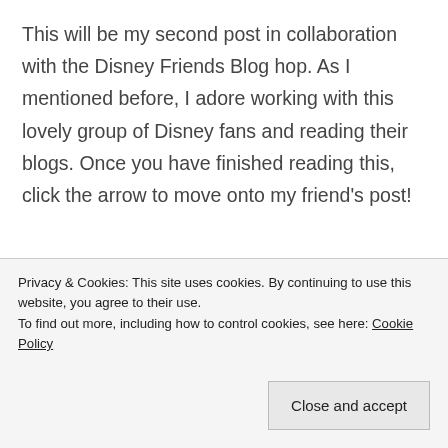This will be my second post in collaboration with the Disney Friends Blog hop. As I mentioned before, I adore working with this lovely group of Disney fans and reading their blogs. Once you have finished reading this, click the arrow to move onto my friend's post!
[Figure (illustration): A red-bordered box containing two black Mickey Mouse ear circles and a Disney cursive logo text]
Privacy & Cookies: This site uses cookies. By continuing to use this website, you agree to their use. To find out more, including how to control cookies, see here: Cookie Policy